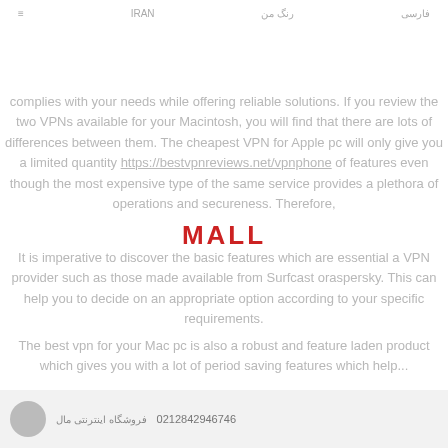IRAN | رنگ من | فارسی
complies with your needs while offering reliable solutions. If you review the two VPNs available for your Macintosh, you will find that there are lots of differences between them. The cheapest VPN for Apple pc will only give you a limited quantity https://bestvpnreviews.net/vpnphone of features even though the most expensive type of the same service provides a plethora of operations and secureness. Therefore,
[Figure (logo): MALL text logo in red bold letters]
It is imperative to discover the basic features which are essential a VPN provider such as those made available from Surfcast oraspersky. This can help you to decide on an appropriate option according to your specific requirements.
The best vpn for your Mac pc is also a robust and feature laden product which gives you with a lot of period saving features which help...
02128429467 | فروشگاه اینترنتی مال